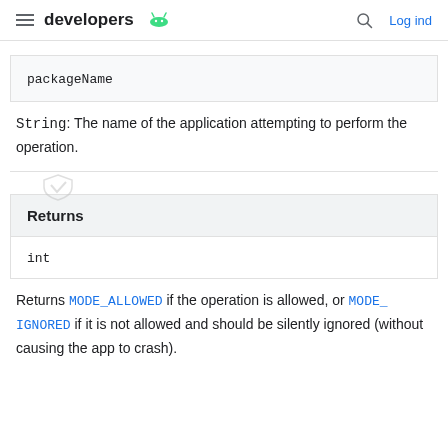developers [android logo] | Log ind
packageName
String: The name of the application attempting to perform the operation.
Returns
int
Returns MODE_ALLOWED if the operation is allowed, or MODE_IGNORED if it is not allowed and should be silently ignored (without causing the app to crash).